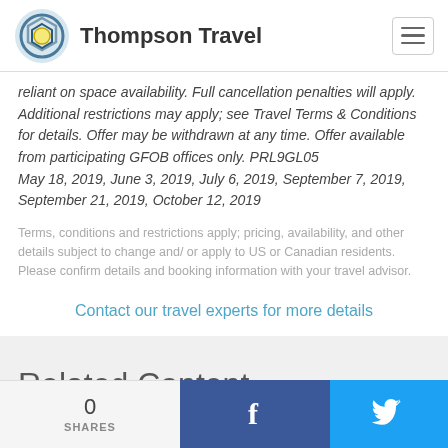Thompson Travel
reliant on space availability. Full cancellation penalties will apply. Additional restrictions may apply; see Travel Terms & Conditions for details. Offer may be withdrawn at any time. Offer available from participating GFOB offices only. PRL9GL05
May 18, 2019, June 3, 2019, July 6, 2019, September 7, 2019, September 21, 2019, October 12, 2019
Terms, conditions and restrictions apply; pricing, availability, and other details subject to change and/ or apply to US or Canadian residents. Please confirm details and booking information with your travel advisor.
Contact our travel experts for more details
Related Content
0 SHARES